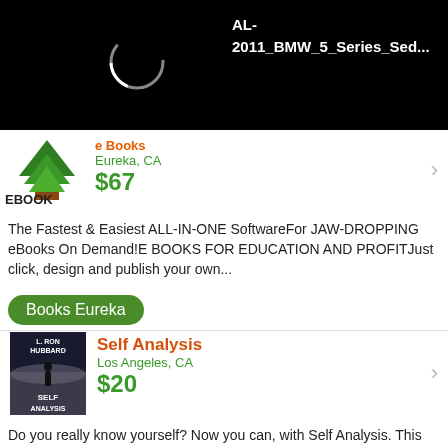[Figure (screenshot): Black header area with loading spinner circle and white bold text reading 'AL-2011_BMW_5_Series_Sed...']
[Figure (logo): EBOOK Free Downloads logo with green tree/books icon]
e Books Eureka, CA $67
The Fastest & Easiest ALL-IN-ONE SoftwareFor JAW-DROPPING eBooks On Demand!E BOOKS FOR EDUCATION AND PROFITJust click, design and publish your own...
Books Eureka
Self Analysis Los Angeles, CA $20
Do you really know yourself? Now you can, with Self Analysis. This book will take you through your past, your potentials, your life. First, with a series of...